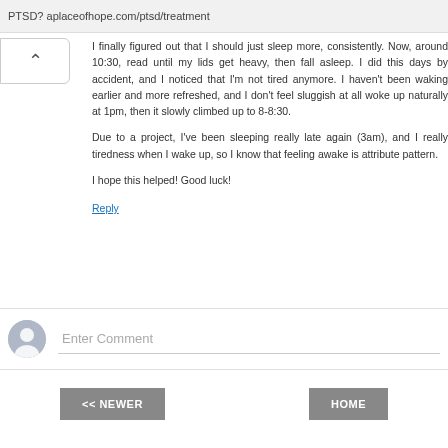PTSD? aplaceofhope.com/ptsd/treatment
I finally figured out that I should just sleep more, consistently. Now, around 10:30, read until my lids get heavy, then fall asleep. I did this days by accident, and I noticed that I'm not tired anymore. I haven't been waking earlier and more refreshed, and I don't feel sluggish at all woke up naturally at 1pm, then it slowly climbed up to 8-8:30.
Due to a project, I've been sleeping really late again (3am), and I really tiredness when I wake up, so I know that feeling awake is attributed pattern.
I hope this helped! Good luck!
Reply
Enter Comment
<< NEWER
HOME